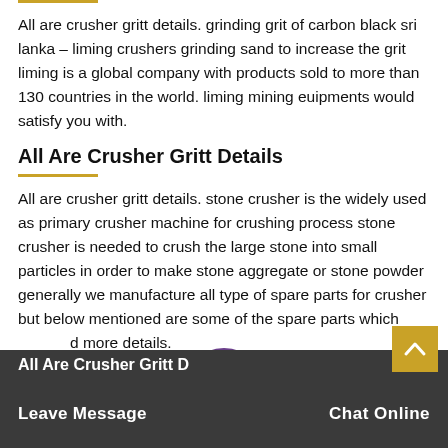All are crusher gritt details. grinding grit of carbon black sri lanka – liming crushers grinding sand to increase the grit liming is a global company with products sold to more than 130 countries in the world. liming mining euipments would satisfy you with.
All Are Crusher Gritt Details
All are crusher gritt details. stone crusher is the widely used as primary crusher machine for crushing process stone crusher is needed to crush the large stone into small particles in order to make stone aggregate or stone powder generally we manufacture all type of spare parts for crusher but below mentioned are some of the spare parts which provide more details.
All Are Crusher Gritt D...
Leave Message   Chat Online